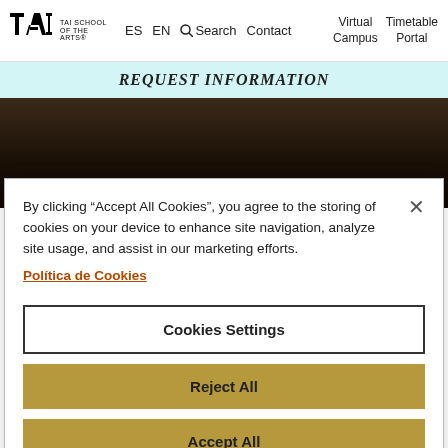TAI SCHOOL OF THE ARTS® ES EN Search Contact Virtual Campus Timetable Portal
REQUEST INFORMATION
[Figure (photo): Dark background hero image, appears to be a dimly lit artistic photograph]
By clicking "Accept All Cookies", you agree to the storing of cookies on your device to enhance site navigation, analyze site usage, and assist in our marketing efforts. Política de Cookies
Cookies Settings
Reject All
Accept All